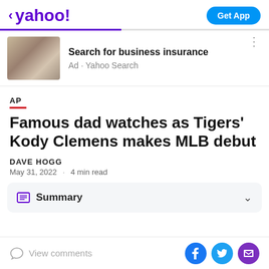< yahoo! | Get App
[Figure (photo): Advertisement banner showing an elderly man and a younger woman in an apron, with text 'Search for business insurance' and 'Ad • Yahoo Search']
AP
Famous dad watches as Tigers' Kody Clemens makes MLB debut
DAVE HOGG
May 31, 2022 · 4 min read
Summary
View comments